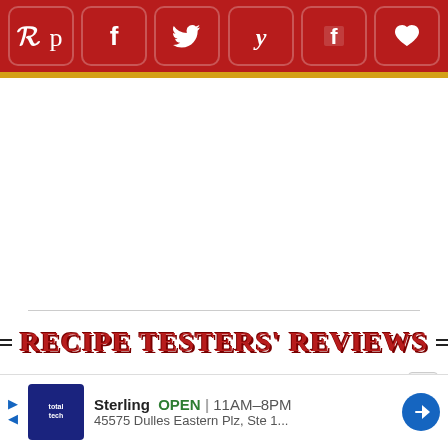Social share bar with Pinterest, Facebook, Twitter, Yummly, Flipboard, Favorites icons
RECIPE TESTERS' REVIEWS
[Figure (infographic): Cursive signature/script decorative element in pink]
Sterling  OPEN  11AM-8PM  45575 Dulles Eastern Plz, Ste 1...